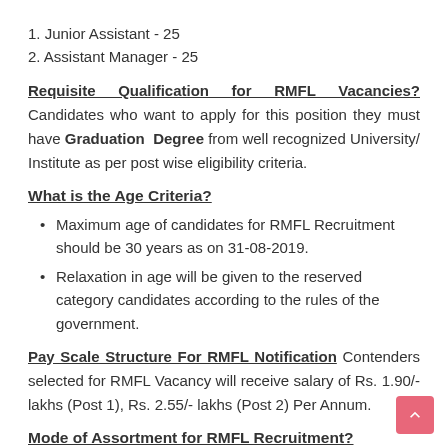1. Junior Assistant - 25
2. Assistant Manager - 25
Requisite Qualification for RMFL Vacancies? Candidates who want to apply for this position they must have Graduation Degree from well recognized University/Institute as per post wise eligibility criteria.
What is the Age Criteria?
Maximum age of candidates for RMFL Recruitment should be 30 years as on 31-08-2019.
Relaxation in age will be given to the reserved category candidates according to the rules of the government.
Pay Scale Structure For RMFL Notification Contenders selected for RMFL Vacancy will receive salary of Rs. 1.90/- lakhs (Post 1), Rs. 2.55/- lakhs (Post 2) Per Annum.
Mode of Assortment for RMFL Recruitment?
Repco Micro Finance Limited will conducts Written Exam